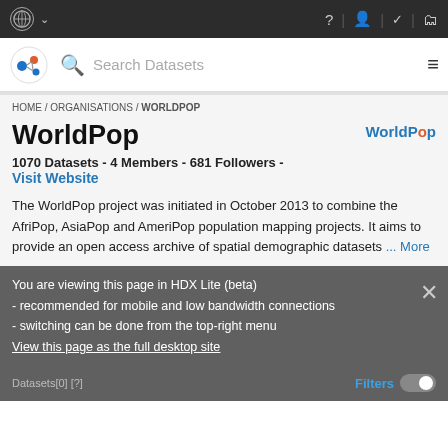UN logo | ? | person | checkmark | monitor
[Figure (screenshot): HDX logo and search bar with Search Datasets placeholder and hamburger menu]
HOME / ORGANISATIONS / WORLDPOP
WorldPop
[Figure (logo): WorldPop logo text in blue]
1070 Datasets - 4 Members - 681 Followers -
Visit Website
The WorldPop project was initiated in October 2013 to combine the AfriPop, AsiaPop and AmeriPop population mapping projects. It aims to provide an open access archive of spatial demographic datasets ... More
You are viewing this page in HDX Lite (beta) - recommended for mobile and low bandwidth connections - switching can be done from the top-right menu
View this page as the full desktop site
Datasets[0] [?]   Filters